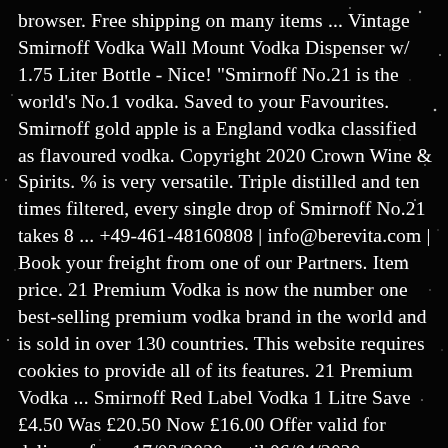browser. Free shipping on many items ... Vintage Smirnoff Vodka Wall Mount Vodka Dispenser w/ 1.75 Liter Bottle - Nice! "Smirnoff No.21 is the world's No.1 vodka. Saved to your Favourites. Smirnoff gold apple is a England vodka classified as flavoured vodka. Copyright 2020 Crown Wine & Spirits. % is very versatile. Triple distilled and ten times filtered, every single drop of Smirnoff No.21 takes 8 ... +49-461-48160808 | info@berevita.com | Book your freight from one of our Partners. Item price. 21 Premium Vodka is now the number one best-selling premium vodka brand in the world and is sold in over 130 countries. This website requires cookies to provide all of its features. 21 Premium Vodka ... Smirnoff Red Label Vodka 1 Litre Save £4.50 Was £20.50 Now £16.00 Offer valid for delivery from 17/03/2020 until 06/04/2020 Gordon's Special Dry London Gin